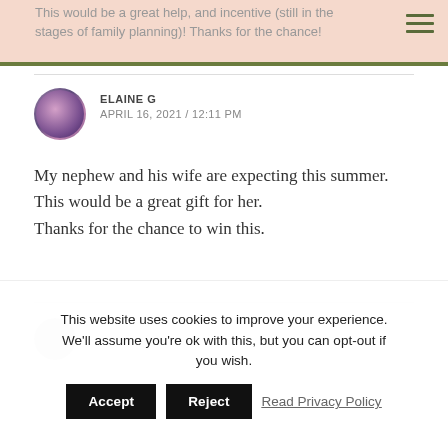This would be a great help, and incentive (still in the stages of family planning)! Thanks for the chance!
ELAINE G
APRIL 16, 2021 / 12:11 PM
My nephew and his wife are expecting this summer. This would be a great gift for her.
Thanks for the chance to win this.
This website uses cookies to improve your experience. We'll assume you're ok with this, but you can opt-out if you wish.